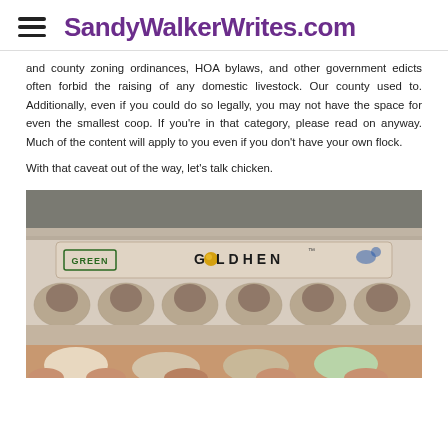SandyWalkerWrites.com
and county zoning ordinances, HOA bylaws, and other government edicts often forbid the raising of any domestic livestock. Our county used to. Additionally, even if you could do so legally, you may not have the space for even the smallest coop. If you're in that category, please read on anyway. Much of the content will apply to you even if you don't have your own flock.
With that caveat out of the way, let's talk chicken.
[Figure (photo): An open egg carton labeled GOLDHEN (with a golden O) and GREEN on the left side, showing empty egg cups. Hands holding eggs visible at the bottom of the image.]